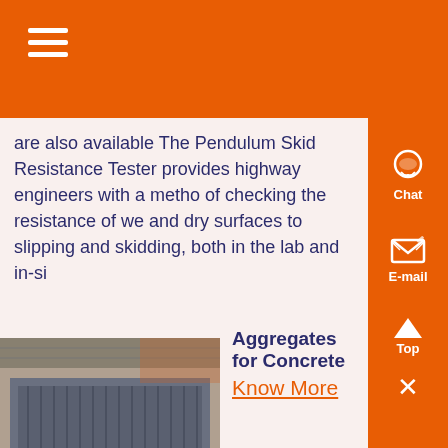are also available The Pendulum Skid Resistance Tester provides highway engineers with a method of checking the resistance of wet and dry surfaces to slipping and skidding, both in the lab and in-si
[Figure (photo): Industrial metal conveyor or screen deck equipment photographed indoors in a factory or warehouse setting]
Aggregates for Concrete
Know More
amount of air, water, cement, and fine aggregate that is, the mortar fraction should be about 50 to 6 by absolute volume 45 to 60 by mass Rounded aggre-gate, such